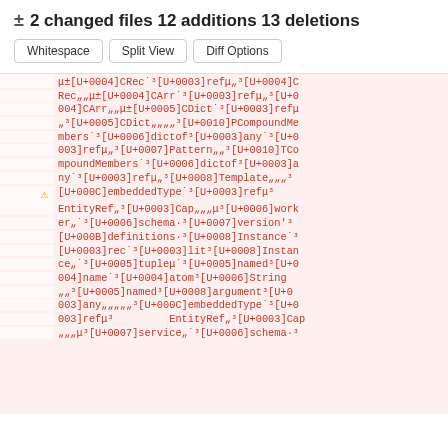± 2 changed files 12 additions 13 deletions
Whitespace
Split View
Diff Options
μ±[U+0004]CRec˙³[U+0003]refμ„³[U+0004]CRec„„μ±[U+0004]CArr˙³[U+0003]refμ„³[U+0004]CArr„„μ±[U+0005]CDict˙³[U+0003]refμ„³[U+0005]CDict„„„„³[U+0010]PCompoundMembers˙³[U+0006]dictof³[U+0003]any˙³[U+0003]refμ„³[U+0007]Pattern„„³[U+0010]TCompoundMembers˙³[U+0006]dictof³[U+0003]any˙³[U+0003]refμ„³[U+0008]Template„„„³[U+000C]embeddedType˙³[U+0003]refμ³EntityRef„³[U+0003]Cap„„„μ³[U+0006]worker„˙³[U+0006]schema·³[U+0007]version'³[U+000B]definitions·³[U+0008]Instance˙³[U+0003]rec˙³[U+0003]lit³[U+0008]Instance„˙³[U+0005]tupleμ˙³[U+0005]named³[U+0004]name˙³[U+0004]atom³[U+0006]String„„³[U+0005]named³[U+0008]argument³[U+0003]any„„„„„³[U+000C]embeddedType˙³[U+0003]refμ³EntityRef„³[U+0003]Cap„„„μ³[U+0007]service„˙³[U+0006]schema·³